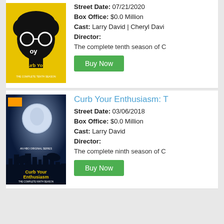[Figure (photo): DVD cover for Curb Your Enthusiasm: The Complete Tenth Season - yellow background with black silhouette wearing glasses, text 'oy' and 'Curb Your Enthusiasm' in yellow]
Street Date: 07/21/2020
Box Office: $0.0 Million
Cast: Larry David | Cheryl Davi
Director:
The complete tenth season of C
Buy Now
Curb Your Enthusiasm: T
[Figure (photo): DVD cover for Curb Your Enthusiasm: The Complete Ninth Season - dark night sky with large moon, city skyline and palm trees, yellow 'Curb Your Enthusiasm' text]
Street Date: 03/06/2018
Box Office: $0.0 Million
Cast: Larry David
Director:
The complete ninth season of C
Buy Now